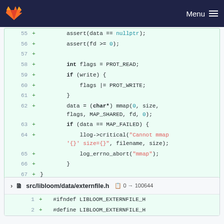GitLab — Menu
[Figure (screenshot): Code diff view showing lines 55-67 with added lines (green background). Lines include: assert(data == nullptr); assert(fd >= 0); int flags = PROT_READ; if (write) { flags |= PROT_WRITE; } data = (char*) mmap(0, size, flags, MAP_SHARED, fd, 0); if (data == MAP_FAILED) { llog->critical("Cannot mmap '{}' size={}", filename, size); log_errno_abort("mmap"); } }]
src/libloom/data/externfile.h  0 → 100644
[Figure (screenshot): Code diff showing lines 1 and 2: + #ifndef LIBLOOM_EXTERNFILE_H, + #define LIBLOOM_EXTERNFILE_H]